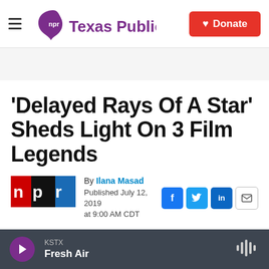Texas Public Radio — Donate
'Delayed Rays Of A Star' Sheds Light On 3 Film Legends
By Ilana Masad
Published July 12, 2019 at 9:00 AM CDT
KSTX — Fresh Air